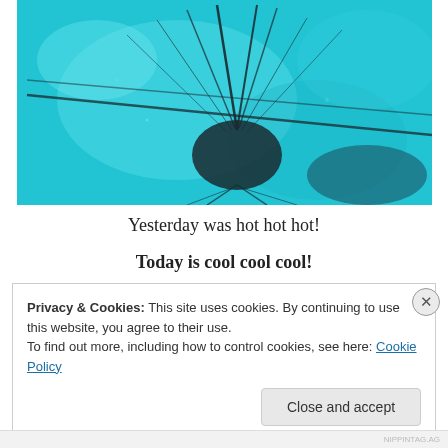[Figure (photo): Close-up macro photo of an insect (appears to be a fly or similar) on a bright cyan/turquoise background, showing fine hairs/bristles and dark wing details]
Yesterday was hot hot hot!
Today is cool cool cool!
Privacy & Cookies: This site uses cookies. By continuing to use this website, you agree to their use.
To find out more, including how to control cookies, see here: Cookie Policy
Close and accept